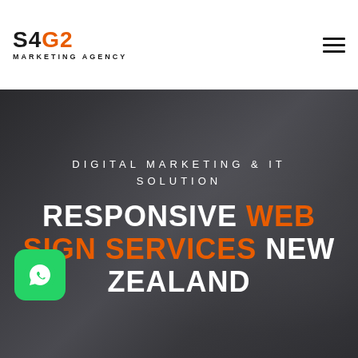[Figure (logo): S4G2 Marketing Agency logo — S4 in black, G2 in orange, with MARKETING AGENCY subtitle in black uppercase letters]
DIGITAL MARKETING & IT SOLUTION
RESPONSIVE WEB SIGN SERVICES NEW ZEALAND
[Figure (illustration): WhatsApp chat icon — white phone/speech bubble icon on green rounded square background]